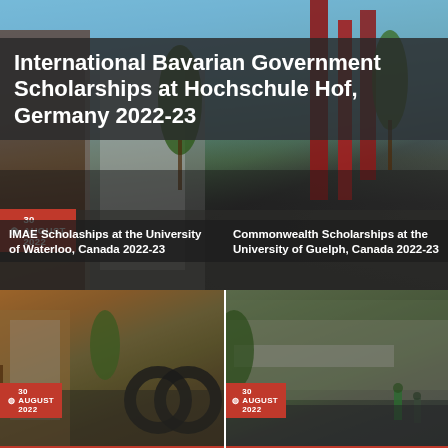[Figure (photo): University building exterior with modern architecture, red vertical elements, trees, and blue sky background]
International Bavarian Government Scholarships at Hochschule Hof, Germany 2022-23
30 AUGUST 2022
[Figure (photo): University of Waterloo campus building with outdoor sculpture and autumn trees]
IMAE Scholaships at the University of Waterloo, Canada 2022-23
30 AUGUST 2022
[Figure (photo): University of Guelph campus with students walking outdoors]
Commonwealth Scholarships at the University of Guelph, Canada 2022-23
30 AUGUST 2022